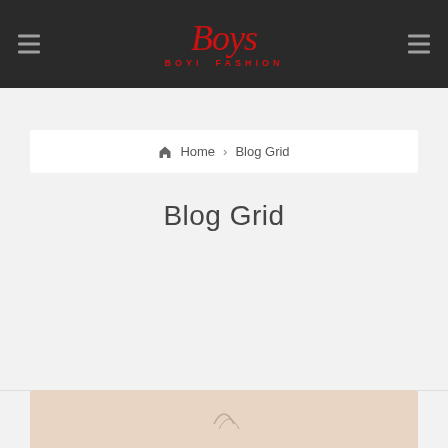Boyi Fashion
Home › Blog Grid
Blog Grid
[Figure (photo): Bottom partial image with beige/nude background color, partially visible decorative element]